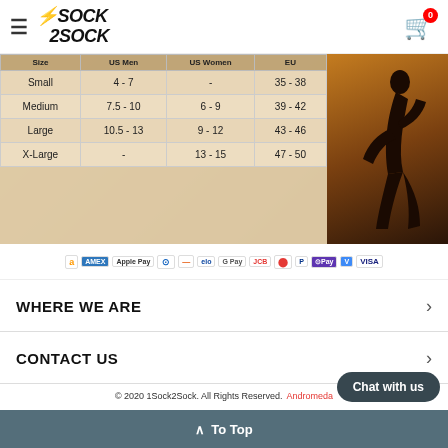1Sock2Sock — Cart: 0
| Size | US Men | US Women | EU |
| --- | --- | --- | --- |
| Small | 4 - 7 | - | 35 - 38 |
| Medium | 7.5 - 10 | 6 - 9 | 39 - 42 |
| Large | 10.5 - 13 | 9 - 12 | 43 - 46 |
| X-Large | - | 13 - 15 | 47 - 50 |
[Figure (photo): Silhouette of a running woman against a warm orange/brown background]
Payment icons: Amazon, Amex, Apple Pay, Diners, Mastercard branded, Elo, Google Pay, JCB, Mastercard, PayPal, ShopPay, Venmo, Visa
WHERE WE ARE
CONTACT US
© 2020 1Sock2Sock. All Rights Reserved. Andromeda
PayPal VISA MasterCard Amex
Chat with us
^ To Top